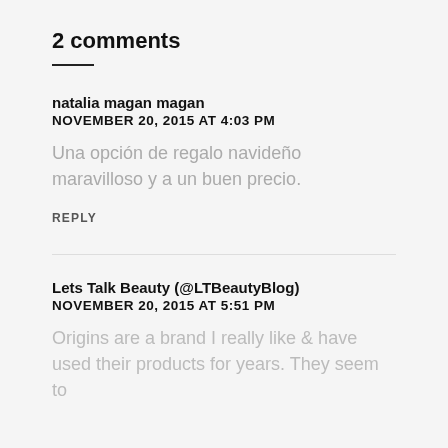2 comments
natalia magan magan
NOVEMBER 20, 2015 AT 4:03 PM
Una opción de regalo navideño maravilloso y a un buen precio.
REPLY
Lets Talk Beauty (@LTBeautyBlog)
NOVEMBER 20, 2015 AT 5:51 PM
Origins are a brand I really like & have used their products for years. They seem to